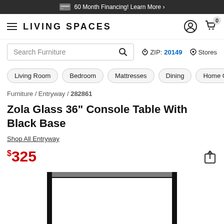60 Month Financing! Learn More ›
LIVING SPACES
Search Furniture    ZIP: 20149   Stores
Living Room
Bedroom
Mattresses
Dining
Home Office
Ki...
Furniture / Entryway / 282861
Zola Glass 36" Console Table With Black Base
Shop All Entryway
$325
[Figure (photo): Zola Glass 36 inch Console Table with Black Base — product photo showing a rectangular glass tabletop held by a thin black metal frame/base, partial view from above.]